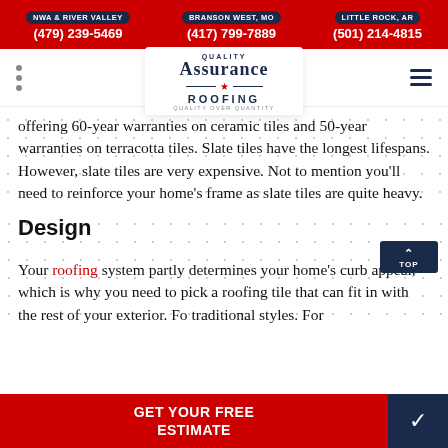NWA & RIVER VALLEY (479) 239-5469 | BRANSON WEST, MO (417) 799-7889 | LITTLE ROCK, AR (501) 214-4815
[Figure (logo): Quality Assurance Roofing logo with tagline 'Quality Over Quantity']
offering 60-year warranties on ceramic tiles and 50-year warranties on terracotta tiles. Slate tiles have the longest lifespans. However, slate tiles are very expensive. Not to mention you'll need to reinforce your home's frame as slate tiles are quite heavy.
Design
Your roofing system partly determines your home's curb appeal, which is why you need to pick a roofing tile that can fit in with the rest of your exterior. Fo... traditional ... styles. For